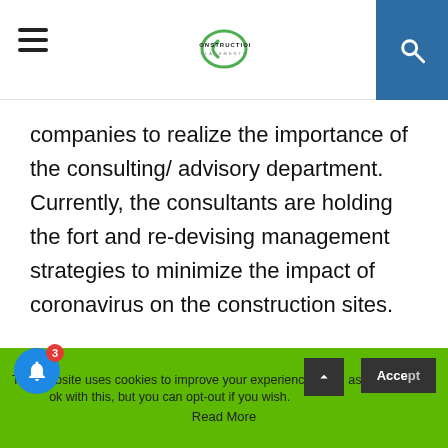Construction Placements
companies to realize the importance of the consulting/ advisory department. Currently, the consultants are holding the fort and re-devising management strategies to minimize the impact of coronavirus on the construction sites.
This has also enabled us to reconsider our over-reliance on a handful of countries especially
This website uses cookies to improve your experience. We'll assume you're ok with this, but you can opt-out if you wish. Accept Read More